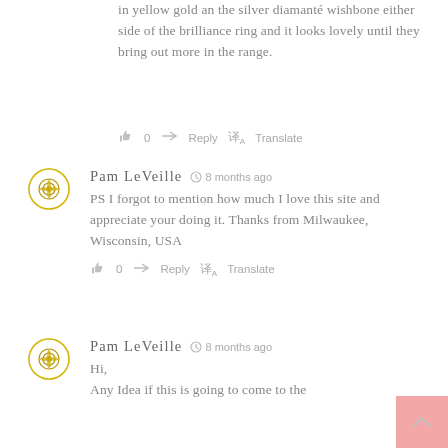in yellow gold an the silver diamanté wishbone either side of the brilliance ring and it looks lovely until they bring out more in the range.
👍 0  → Reply  译 Translate
[Figure (illustration): Circular avatar with gold ornamental flower/cross pattern on white background]
Pam LeVeille  🕐 8 months ago
PS I forgot to mention how much I love this site and appreciate your doing it. Thanks from Milwaukee, Wisconsin, USA
👍 0  → Reply  译 Translate
[Figure (illustration): Circular avatar with gold ornamental flower/cross pattern on white background]
Pam LeVeille  🕐 8 months ago
Hi,
Any Idea if this is going to come to the